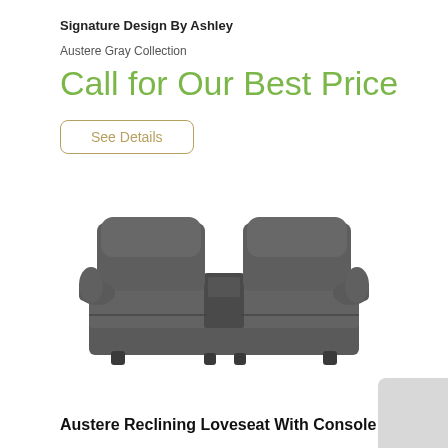Signature Design By Ashley
Austere Gray Collection
Call for Our Best Price
See Details
[Figure (photo): Gray reclining loveseat with console, shown from front view. Two recliner seats with padded backrests, armrests, and a center console between them. Upholstered in dark gray leather-like fabric.]
Austere Reclining Loveseat With Console